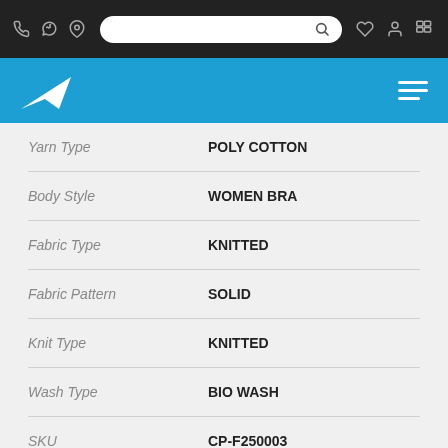Navigation bar with search, phone, WhatsApp, location, wishlist, account, cart icons
[Figure (logo): Brand logo with arrow/bird shape on blue navigation bar with hamburger menu]
| Attribute | Value |
| --- | --- |
| Yarn Type | POLY COTTON |
| Body Style | WOMEN BRA |
| Fabric Type | KNITTED |
| Fabric Pattern | SOLID |
| Knit Type | KNITTED |
| Wash Type | BIO WASH |
| SKU | CP-F250003 |